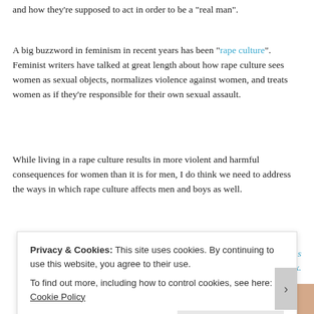and how they're supposed to act in order to be a "real man".
A big buzzword in feminism in recent years has been "rape culture". Feminist writers have talked at great length about how rape culture sees women as sexual objects, normalizes violence against women, and treats women as if they're responsible for their own sexual assault.
While living in a rape culture results in more violent and harmful consequences for women than it is for men, I do think we need to address the ways in which rape culture affects men and boys as well.
Porn is not only harmful to women, but also perpetuates misperceptions about men and sex.
[Figure (photo): Partial view of a person, skin-toned image strip]
Privacy & Cookies: This site uses cookies. By continuing to use this website, you agree to their use.
To find out more, including how to control cookies, see here: Cookie Policy
Close and accept